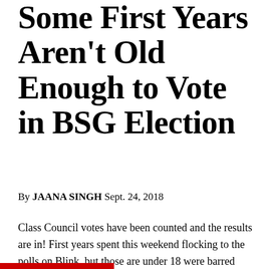Some First Years Aren't Old Enough to Vote in BSG Election
By JAANA SINGH Sept. 24, 2018
Class Council votes have been counted and the results are in! First years spent this weekend flocking to the polls on Blink, but those are under 18 were barred from voting, as they are not old enough to vote.